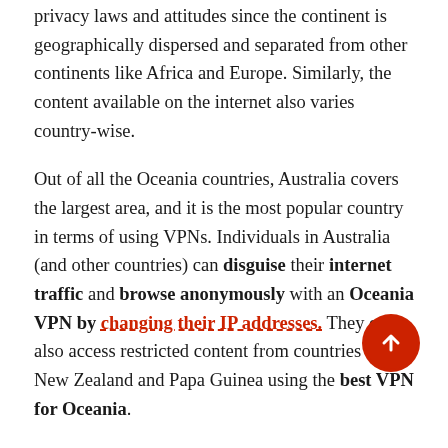privacy laws and attitudes since the continent is geographically dispersed and separated from other continents like Africa and Europe. Similarly, the content available on the internet also varies country-wise.
Out of all the Oceania countries, Australia covers the largest area, and it is the most popular country in terms of using VPNs. Individuals in Australia (and other countries) can disguise their internet traffic and browse anonymously with an Oceania VPN by changing their IP addresses. They can also access restricted content from countries like New Zealand and Papa Guinea using the best VPN for Oceania.
The top Australian VPN services deliver the fastest speed servers, encrypt your data, hide your IP address, and allow you to access blocked overseas streaming services.
Out of all the area covered for Oceania cont...